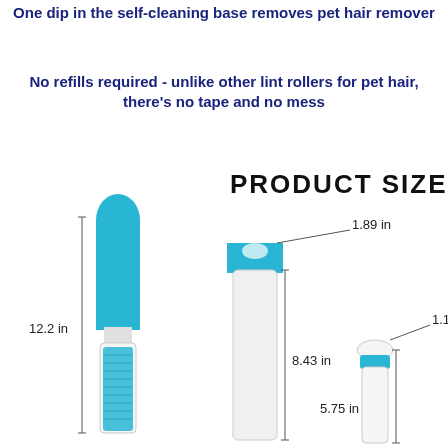One dip in the self-cleaning base removes pet hair remover
No refills required - unlike other lint rollers for pet hair, there's no tape and no mess
[Figure (photo): Product size diagram showing three pet hair remover brushes with dimensions: large brush 12.2 in tall, medium brush 8.43 in tall by 1.89 in wide, small brush 5.75 in tall by 1.14 in wide. Label 'PRODUCT SIZE' in bold black text appears at top right of diagram.]